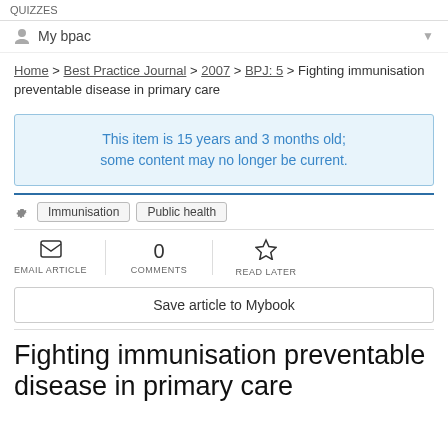QUIZZES
My bpac
Home > Best Practice Journal > 2007 > BPJ: 5 > Fighting immunisation preventable disease in primary care
This item is 15 years and 3 months old; some content may no longer be current.
Immunisation
Public health
EMAIL ARTICLE
0 COMMENTS
READ LATER
Save article to Mybook
Fighting immunisation preventable disease in primary care